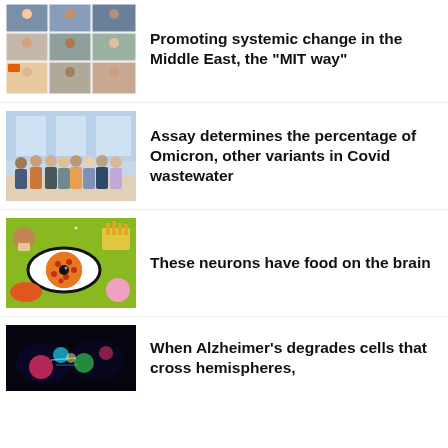[Figure (photo): Grid of video call thumbnails showing multiple participants in an online meeting]
Promoting systemic change in the Middle East, the “MIT way”
[Figure (photo): Group photo of researchers standing together indoors near large windows]
Assay determines the percentage of Omicron, other variants in Covid wastewater
[Figure (illustration): Colorful illustration of an eye surrounded by various food items including pizza, ice cream, and french fries on a green background]
These neurons have food on the brain
[Figure (photo): Dark microscopy image showing glowing colored cells crossing hemispheres of brain tissue]
When Alzheimer’s degrades cells that cross hemispheres,